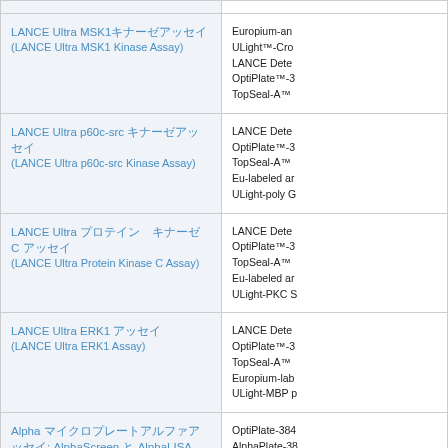| Product | Components |
| --- | --- |
| LANCE Ultra MSK1キナーゼアッセイ
(LANCE Ultra MSK1 Kinase Assay) | Europium-an
ULight™-Cro
LANCE Dete
OptiPlate™-3
TopSeal-A™ |
| LANCE Ultra p60c-src キナーゼアッセイ
(LANCE Ultra p60c-src Kinase Assay) | LANCE Dete
OptiPlate™-3
TopSeal-A™
Eu-labeled ar
ULight-poly G |
| LANCE Ultra プロテイン　キナーゼ C アッセイ
(LANCE Ultra Protein Kinase C Assay) | LANCE Dete
OptiPlate™-3
TopSeal-A™
Eu-labeled ar
ULight-PKC S |
| LANCE Ultra ERK1 アッセイ
(LANCE Ultra ERK1 Assay) | LANCE Dete
OptiPlate™-3
TopSeal-A™
Europium-lab
ULight-MBP p |
| Alpha マイクロプレートアルファアッセイ: AlphaScreen と AlphaLISA
(Microplates for Alpha Assays: AlphaScreen and AlphaLISA) | OptiPlate-384
AlphaPlate-38
OptiPlate-153
AlphaPlate-15
ProxiPlate™-
AlphaPlate-38
1/2 AreaPlate
AlphaScreen |
|  | LANCE Dete |